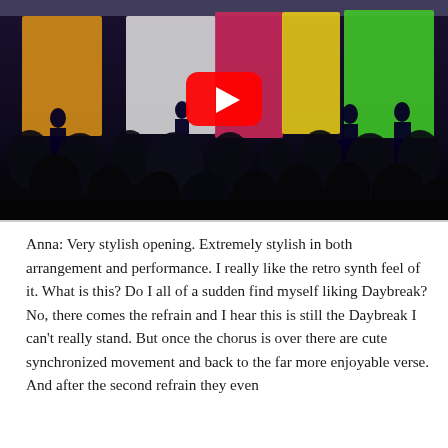[Figure (photo): Concert performance photo showing a dark venue with colorful stage backdrop panels (orange, white, pink/red, yellow, green), silhouetted performers on stage, a crowd of audience members in the foreground, and a YouTube play button overlay in the center.]
Anna: Very stylish opening. Extremely stylish in both arrangement and performance. I really like the retro synth feel of it. What is this? Do I all of a sudden find myself liking Daybreak? No, there comes the refrain and I hear this is still the Daybreak I can't really stand. But once the chorus is over there are cute synchronized movement and back to the far more enjoyable verse. And after the second refrain they even